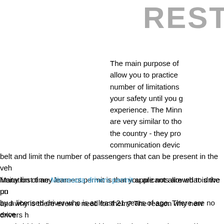REST
The main purpose of allow you to practice number of limitations your safety until you experience. The Minn are very similar to tho the country - they pro communication devic belt and limit the number of passengers that can be present in the veh limitation of any learners permit is that you are not allowed to drive un by a licensed driver who is at least 21 years of age. There are no exce cannot drive alone no matter what the circumstances may be. Failure Minnesota learners permit restrictions may result in your driving privile revoked.
Many first time Minnesota drivers permit applicants are what is the pu and why is there even a need for them? The reason why new drivers h restrictions is because new drivers don't yet have the experience and them to avoid potentially dangerous situations. Experienced drivers ca